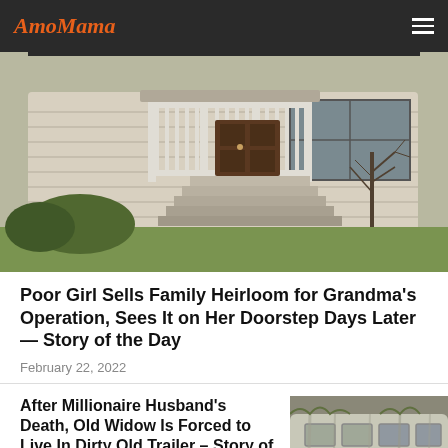AmoMama
[Figure (photo): Exterior photo of a modest white house with front porch, white railings, wooden stairs, and bare trees in the yard, taken in winter/autumn]
Poor Girl Sells Family Heirloom for Grandma's Operation, Sees It on Her Doorstep Days Later — Story of the Day
February 22, 2022
After Millionaire Husband's Death, Old Widow Is Forced to Live In Dirty Old Trailer – Story of the Day
[Figure (photo): Photo of a dirty old white trailer/camper van with windows, appearing weathered and aged]